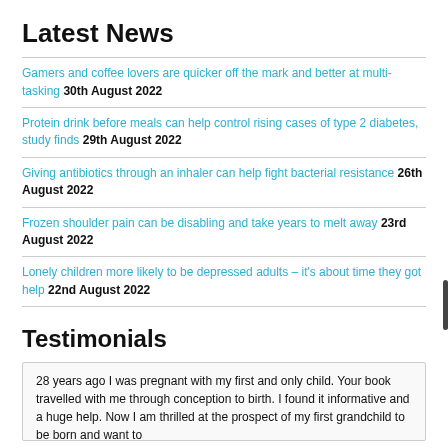Latest News
Gamers and coffee lovers are quicker off the mark and better at multi-tasking 30th August 2022
Protein drink before meals can help control rising cases of type 2 diabetes, study finds 29th August 2022
Giving antibiotics through an inhaler can help fight bacterial resistance 26th August 2022
Frozen shoulder pain can be disabling and take years to melt away 23rd August 2022
Lonely children more likely to be depressed adults – it's about time they got help 22nd August 2022
Testimonials
28 years ago I was pregnant with my first and only child. Your book travelled with me through conception to birth. I found it informative and a huge help. Now I am thrilled at the prospect of my first grandchild to be born and want to...